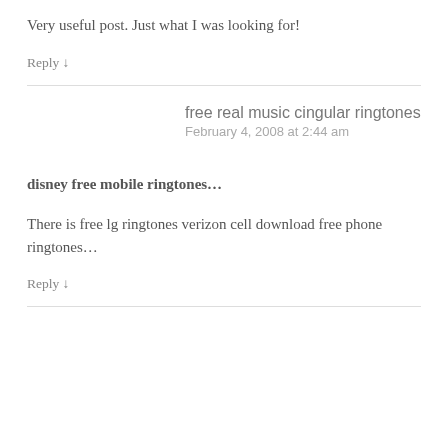Very useful post. Just what I was looking for!
Reply ↓
free real music cingular ringtones
February 4, 2008 at 2:44 am
disney free mobile ringtones...
There is free lg ringtones verizon cell download free phone ringtones…
Reply ↓